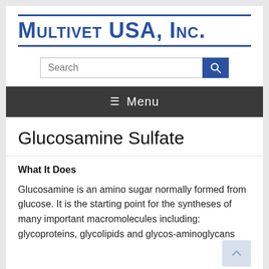Multivet USA, Inc.
Glucosamine Sulfate
What It Does
Glucosamine is an amino sugar normally formed from glucose. It is the starting point for the syntheses of many important macromolecules including: glycoproteins, glycolipids and glycos-aminoglycans